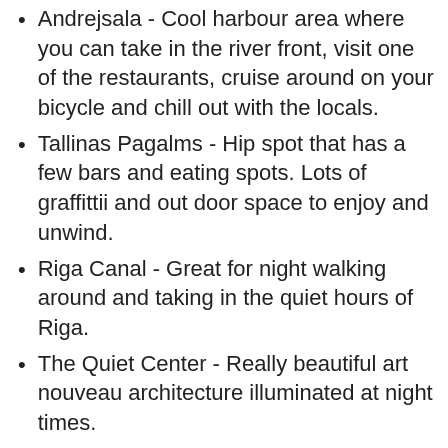Andrejsala - Cool harbour area where you can take in the river front, visit one of the restaurants, cruise around on your bicycle and chill out with the locals.
Tallinas Pagalms - Hip spot that has a few bars and eating spots. Lots of graffittii and out door space to enjoy and unwind.
Riga Canal - Great for night walking around and taking in the quiet hours of Riga.
The Quiet Center - Really beautiful art nouveau architecture illuminated at night times.
Central Riga - Full of many places to dine, wine and loose some brain cells in!
K.K. Fon Stricka Villa area - Here you will find a micro brewery, events, old industrial buildings and a number of venues
Old Riga - It is a classic but the streets of the Old city are nice to loose some calories along. Just